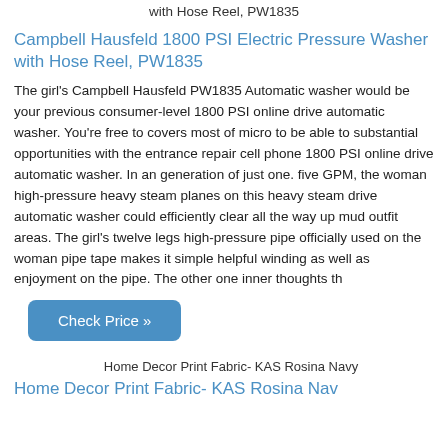with Hose Reel, PW1835
Campbell Hausfeld 1800 PSI Electric Pressure Washer with Hose Reel, PW1835
The girl's Campbell Hausfeld PW1835 Automatic washer would be your previous consumer-level 1800 PSI online drive automatic washer. You're free to covers most of micro to be able to substantial opportunities with the entrance repair cell phone 1800 PSI online drive automatic washer. In an generation of just one. five GPM, the woman high-pressure heavy steam planes on this heavy steam drive automatic washer could efficiently clear all the way up mud outfit areas. The girl's twelve legs high-pressure pipe officially used on the woman pipe tape makes it simple helpful winding as well as enjoyment on the pipe. The other one inner thoughts th
Check Price »
[Figure (other): Broken image placeholder labeled: Home Decor Print Fabric- KAS Rosina Navy]
Home Decor Print Fabric- KAS Rosina Navy